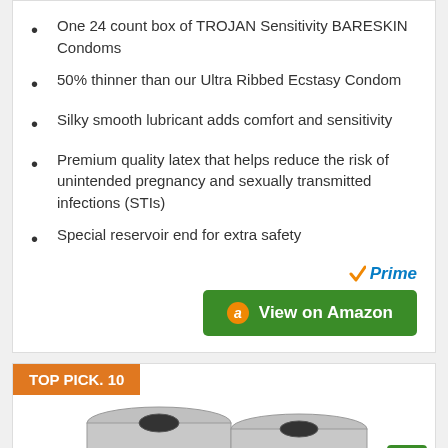One 24 count box of TROJAN Sensitivity BARESKIN Condoms
50% thinner than our Ultra Ribbed Ecstasy Condom
Silky smooth lubricant adds comfort and sensitivity
Premium quality latex that helps reduce the risk of unintended pregnancy and sexually transmitted infections (STIs)
Special reservoir end for extra safety
[Figure (screenshot): Amazon Prime logo and green 'View on Amazon' button]
TOP PICK. 10
[Figure (photo): Two metallic cylindrical filter canisters side by side]